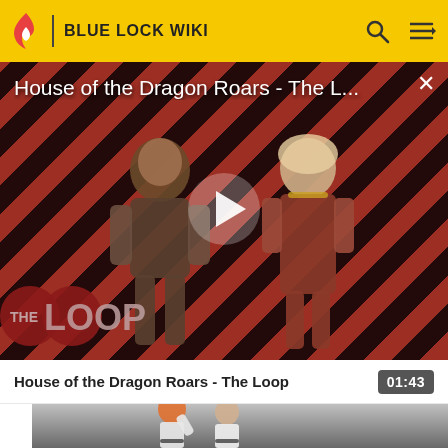BLUE LOCK WIKI
[Figure (screenshot): Video player showing 'House of the Dragon Roars - The L...' with a play button overlay, diagonal red and dark striped background, two characters from House of the Dragon, and 'THE LOOP' logo in bottom left. Close X button top right.]
House of the Dragon Roars - The Loop
01:43
[Figure (screenshot): Partial thumbnail of anime characters in white uniforms, one with orange/red hair waving, on a grey gradient background.]